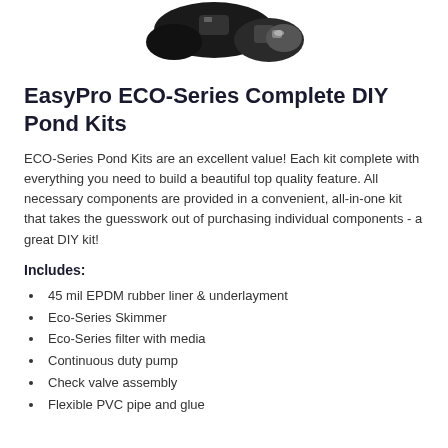[Figure (photo): Photo of EasyPro ECO-Series pond kit components including pump and skimmer units shown from above against white background]
EasyPro ECO-Series Complete DIY Pond Kits
ECO-Series Pond Kits are an excellent value! Each kit complete with everything you need to build a beautiful top quality feature. All necessary components are provided in a convenient, all-in-one kit that takes the guesswork out of purchasing individual components - a great DIY kit!
Includes:
45 mil EPDM rubber liner & underlayment
Eco-Series Skimmer
Eco-Series filter with media
Continuous duty pump
Check valve assembly
Flexible PVC pipe and glue